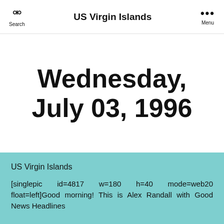Search  US Virgin Islands  Menu
Wednesday, July 03, 1996
US Virgin Islands
[singlepic  id=4817  w=180  h=40  mode=web20 float=left]Good morning! This is Alex Randall with Good News Headlines